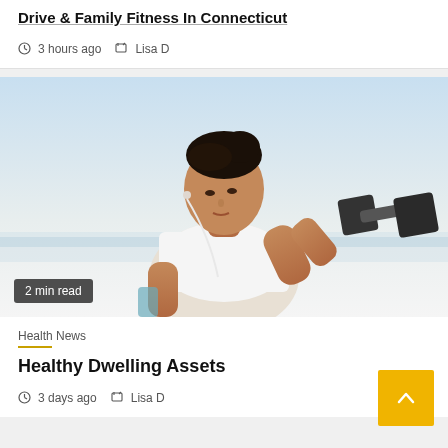Drive & Family Fitness In Connecticut
3 hours ago   Lisa D
[Figure (photo): Woman in white sports bra lifting a dumbbell outdoors, wearing earphones, with blue sky in background. Badge reads '2 min read'.]
Health News
Healthy Dwelling Assets
3 days ago   Lisa D